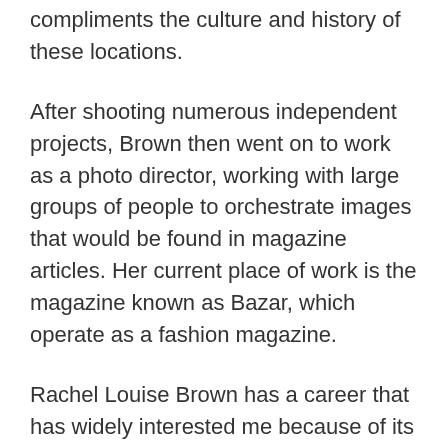compliments the culture and history of these locations.
After shooting numerous independent projects, Brown then went on to work as a photo director, working with large groups of people to orchestrate images that would be found in magazine articles. Her current place of work is the magazine known as Bazar, which operate as a fashion magazine.
Rachel Louise Brown has a career that has widely interested me because of its variety. She moves from one project to the next, and whilst there are some visual techniques that have managed to transfer over to each one, none of her work feels like it starts to become